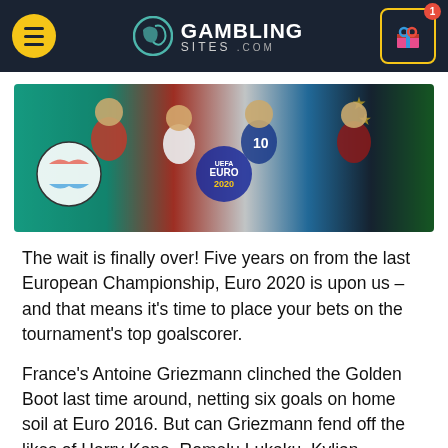GamblingSites.com
[Figure (photo): Euro 2020 promotional banner featuring football players including Harry Kane, Romelu Lukaku, Kylian Mbappe, and Cristiano Ronaldo with the UEFA Euro 2020 logo]
The wait is finally over! Five years on from the last European Championship, Euro 2020 is upon us – and that means it's time to place your bets on the tournament's top goalscorer.
France's Antoine Griezmann clinched the Golden Boot last time around, netting six goals on home soil at Euro 2016. But can Griezmann fend off the likes of Harry Kane, Romelu Lukaku, Kylian Mbappe, and Cristiano Ronaldo to scoop the prize again?
In this Euro 2020 Golden Boot betting guide, we discuss the